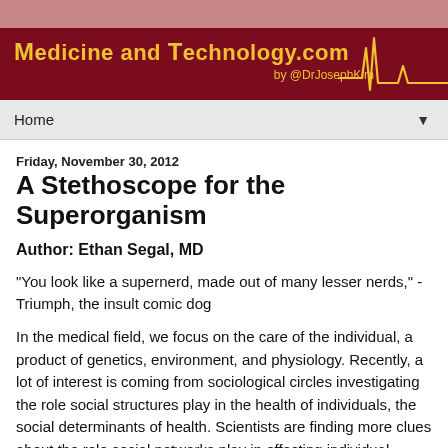Medicine and Technology.com by @DrJosephKim
Home
Friday, November 30, 2012
A Stethoscope for the Superorganism
Author: Ethan Segal, MD
"You look like a supernerd, made out of many lesser nerds," -Triumph, the insult comic dog
In the medical field, we focus on the care of the individual, a product of genetics, environment, and physiology. Recently, a lot of interest is coming from sociological circles investigating the role social structures play in the health of individuals, the social determinants of health. Scientists are finding more clues about the role social networks play in effecting individual health. For example, Kristakis and Fowler